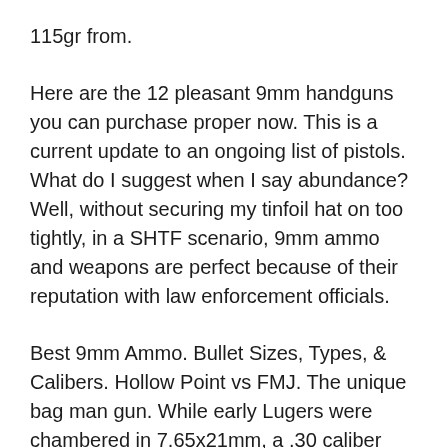115gr from.
Here are the 12 pleasant 9mm handguns you can purchase proper now. This is a current update to an ongoing list of pistols. What do I suggest when I say abundance? Well, without securing my tinfoil hat on too tightly, in a SHTF scenario, 9mm ammo and weapons are perfect because of their reputation with law enforcement officials.
Best 9mm Ammo. Bullet Sizes, Types, & Calibers. Hollow Point vs FMJ. The unique bag man gun. While early Lugers were chambered in 7.65x21mm, a .30 caliber rimless bottleneck cartridge also invented by way of Herr Luger, navy customers had been